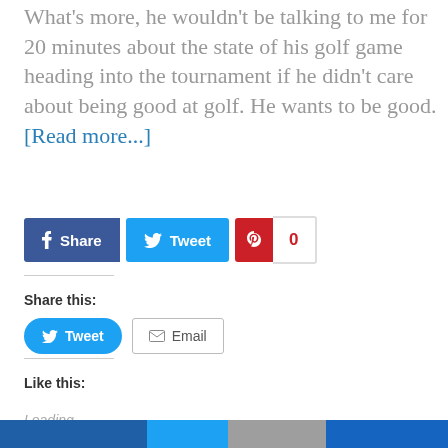What’s more, he wouldn’t be talking to me for 20 minutes about the state of his golf game heading into the tournament if he didn’t care about being good at golf. He wants to be good. [Read more...]
[Figure (screenshot): Social share buttons: Facebook Share button (dark blue), Twitter Tweet button (light blue), Pinterest button with count 0]
Share this:
[Figure (screenshot): Tweet button (rounded, light blue) and Email button (outlined)]
Like this:
Loading...
[Figure (infographic): Bottom color bar strip with dark blue, light blue, gray, and mid blue segments]